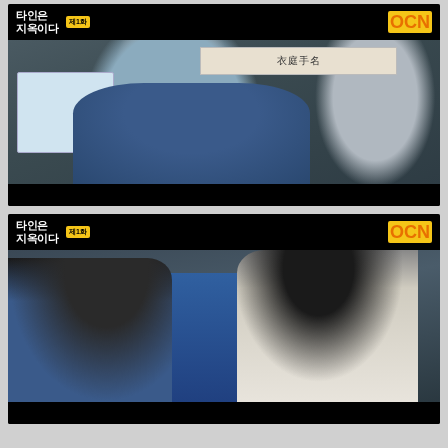[Figure (screenshot): Screenshot from Korean drama 'Other is Hell' (타인은 지옥이다) on OCN channel. Episode 1. A female police officer in a blue uniform is smiling with her hand near her face, standing in what appears to be a police station. A person seen from behind is in the foreground right. A sign with Chinese/Korean characters and a dental poster are visible in the background. OCN logo appears top right.]
[Figure (screenshot): Screenshot from Korean drama 'Other is Hell' (타인은 지옥이다) on OCN channel. Episode 1. A female police officer in blue uniform is seen from behind on the left, facing a young man in a white suit on the right who looks at her seriously. The scene appears to be in an indoor corridor or office space. OCN logo appears top right.]